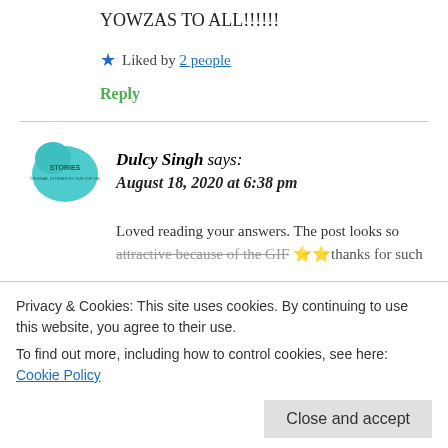YOWZAS TO ALL!!!!!!
★ Liked by 2 people
Reply
Dulcy Singh says: August 18, 2020 at 6:38 pm
Loved reading your answers. The post looks so attractive because of the GIF 🌟🌟 thanks for such
Privacy & Cookies: This site uses cookies. By continuing to use this website, you agree to their use.
To find out more, including how to control cookies, see here: Cookie Policy